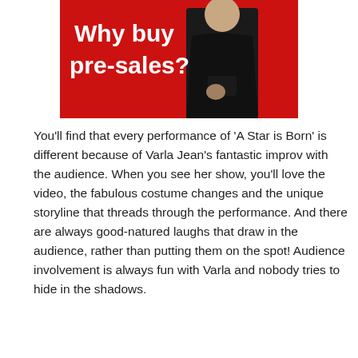[Figure (photo): Promotional image with red background showing a person in a dark suit with text 'Why buy pre-sales?' in white bold font]
You'll find that every performance of 'A Star is Born' is different because of Varla Jean's fantastic improv with the audience. When you see her show, you'll love the video, the fabulous costume changes and the unique storyline that threads through the performance. And there are always good-natured laughs that draw in the audience, rather than putting them on the spot! Audience involvement is always fun with Varla and nobody tries to hide in the shadows.